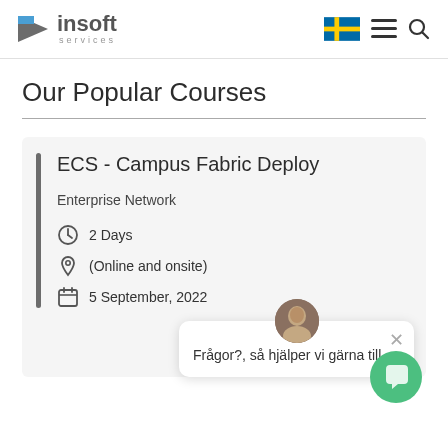[Figure (logo): Insoft Services logo with triangular arrow icon]
[Figure (other): Swedish flag, hamburger menu icon, and search icon in header navigation]
Our Popular Courses
ECS - Campus Fabric Deploy
Enterprise Network
2 Days
(Online and onsite)
5 September, 2022
Frågor?, så hjälper vi gärna till.